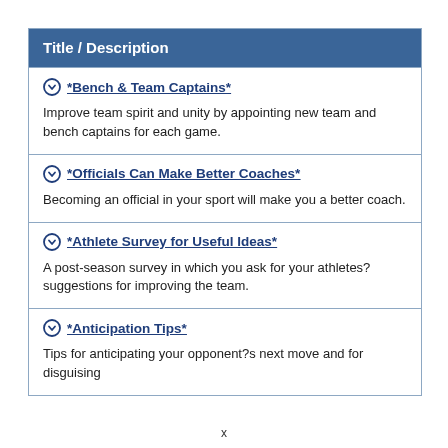| Title / Description |
| --- |
| *Bench & Team Captains*
Improve team spirit and unity by appointing new team and bench captains for each game. |
| *Officials Can Make Better Coaches*
Becoming an official in your sport will make you a better coach. |
| *Athlete Survey for Useful Ideas*
A post-season survey in which you ask for your athletes? suggestions for improving the team. |
| *Anticipation Tips*
Tips for anticipating your opponent?s next move and for disguising... |